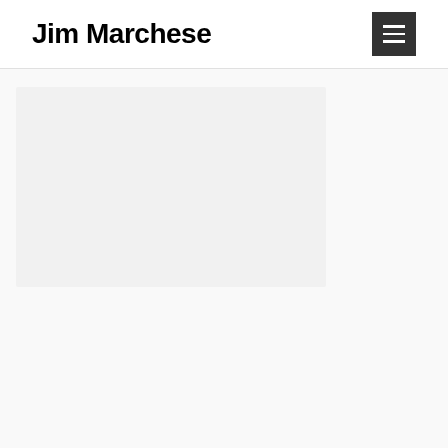Jim Marchese
[Figure (screenshot): Faint background image visible in the content area below the header divider, largely washed out/very low opacity]